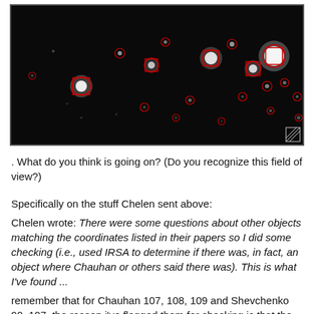[Figure (photo): Astronomical field of view image showing stars on a black background, with red circle and square markers overlaid on various stars of different brightnesses.]
. What do you think is going on? (Do you recognize this field of view?)
Specifically on the stuff Chelen sent above:
Chelen wrote: There were some questions about other objects matching the coordinates listed in their papers so I did some checking (i.e., used IRSA to determine if there was, in fact, an object where Chauhan or others said there was). This is what I've found ...
remember that for Chauhan 107, 108, 109 and Shevchenko 90, 107, the reason i've flagged them for checking is that the optical and their IR seds were discontinuous. We have identified 2mass matches for all of them, but the issue is whether or not that match is right. the matches are listed in the catalog i posted last thursday.
Chauhan 107 = slightly off ... 07h04m 03.1s -11d23m27.6s  aligns very closely to 2MASS 07040314-1123275
that's what i get, but when you look at the finder charts (above!), we may